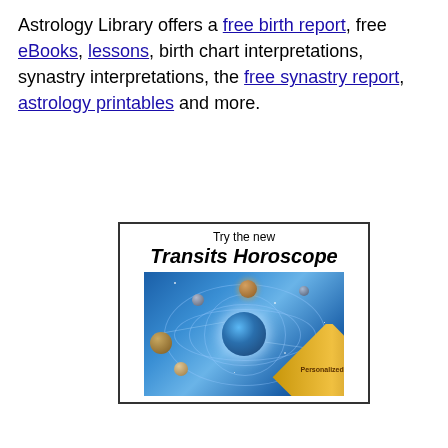Astrology Library offers a free birth report, free eBooks, lessons, birth chart interpretations, synastry interpretations, the free synastry report, astrology printables and more.
[Figure (illustration): Advertisement banner for 'Transits Horoscope' showing a solar system illustration with planets orbiting Earth against a blue starry background, with a gold 'Personalized' ribbon in the corner. Header text reads 'Try the new Transits Horoscope'.]